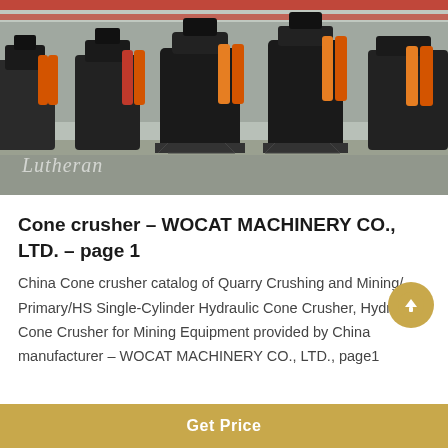[Figure (photo): Industrial manufacturing facility showing rows of cone crushers (large black and orange mining/quarrying machines) lined up on a factory floor with red overhead crane beams visible at the top. Watermark text 'Lutheran' visible in lower left of image.]
Cone crusher – WOCAT MACHINERY CO., LTD. – page 1
China Cone crusher catalog of Quarry Crushing and Mining/ Primary/HS Single-Cylinder Hydraulic Cone Crusher, Hydraulic Cone Crusher for Mining Equipment provided by China manufacturer – WOCAT MACHINERY CO., LTD., page1
Get Price